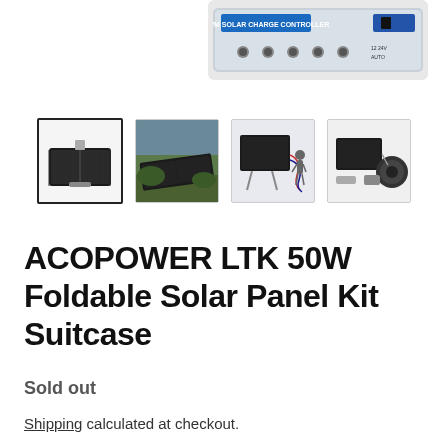[Figure (photo): Partial top image of a solar charge controller device, cropped at the top of the page, positioned in the upper right area.]
[Figure (photo): Row of four product thumbnail images: (1) selected thumbnail with black border showing folded solar panel suitcase, (2) solar panel deployed outdoors, (3) solar panel with stand and cables, (4) solar panel kit with accessories.]
ACOPOWER LTK 50W Foldable Solar Panel Kit Suitcase
Sold out
Shipping calculated at checkout.